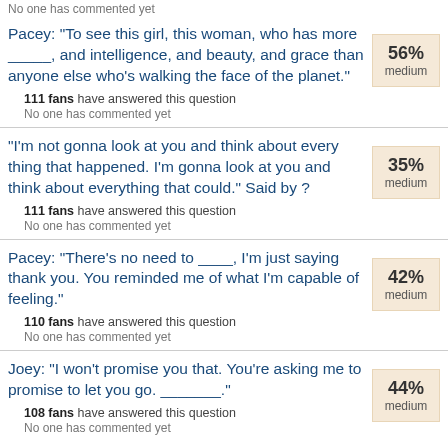No one has commented yet
Pacey: "To see this girl, this woman, who has more _____, and intelligence, and beauty, and grace than anyone else who's walking the face of the planet."
111 fans have answered this question
No one has commented yet
"I'm not gonna look at you and think about every thing that happened. I'm gonna look at you and think about everything that could." Said by ?
111 fans have answered this question
No one has commented yet
Pacey: "There's no need to ____, I'm just saying thank you. You reminded me of what I'm capable of feeling."
110 fans have answered this question
No one has commented yet
Joey: "I won't promise you that. You're asking me to promise to let you go. _______"
108 fans have answered this question
No one has commented yet